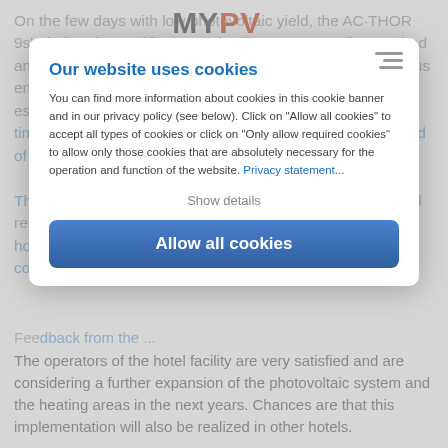On the few days with low photovoltaic yield, the AC·THOR 9s' tried-and-tested hot water backup can cover the required amount of energy with the regular public power grid and thus ensure that hotel guests can enjoy a warm shower. This is especially necessary at times when a lot of hot water is needed within a short period of time, such as in the evening.
The distance to the set-up is not an obstacle, as it is guided remotely. The myPV Power Manager not only manages the hot water system. The passible hot water backup can be configured from anywhere in the world.
Our website uses cookies
You can find more information about cookies in this cookie banner and in our privacy policy (see below). Click on "Allow all cookies" to accept all types of cookies or click on "Only allow required cookies" to allow only those cookies that are absolutely necessary for the operation and function of the website. Privacy statement...
Show details
Allow all cookies
Feedback from the ...
The operators of the hotel facility are very satisfied and are considering a further expansion of the photovoltaic system and the heating areas in the next years. Chances are that this implementation will also be realized in other hotels.